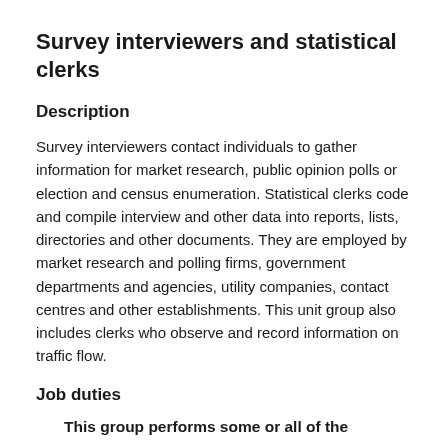Survey interviewers and statistical clerks
Description
Survey interviewers contact individuals to gather information for market research, public opinion polls or election and census enumeration. Statistical clerks code and compile interview and other data into reports, lists, directories and other documents. They are employed by market research and polling firms, government departments and agencies, utility companies, contact centres and other establishments. This unit group also includes clerks who observe and record information on traffic flow.
Job duties
This group performs some or all of the